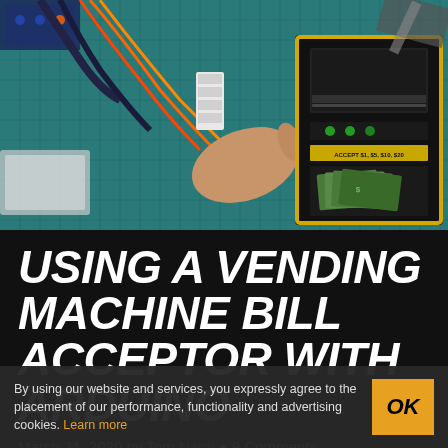[Figure (photo): Overhead view of a bill acceptor device with yellow border and green LEDs labeled 'ACCEPT $1, $5, $10, $20', showing dollar bills being inserted. Device sits on a teal/green grid cutting mat alongside wires and an Arduino circuit board.]
USING A VENDING MACHINE BILL ACCEPTOR WITH ARDUINO
March 31, 2020 by Tom Nardi ● 9 Comments
By using our website and services, you expressly agree to the placement of our performance, functionality and advertising cookies. Learn more